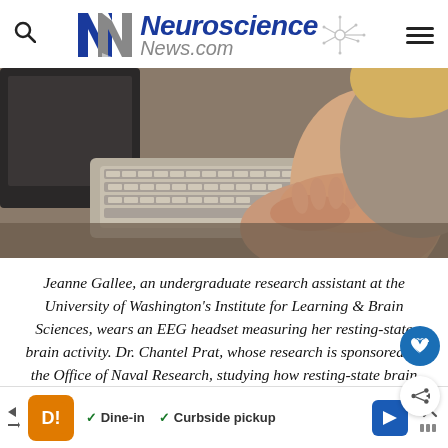Neuroscience News.com
[Figure (photo): A person sitting at a desk with a keyboard and computer monitor, wearing a sleeveless top, hands resting on the keyboard. The image is taken from a side/overhead angle showing the person's arms and hands on the keyboard with a dark monitor in the background.]
Jeanne Gallee, an undergraduate research assistant at the University of Washington's Institute for Learning & Brain Sciences, wears an EEG headset measuring her resting-state brain activity. Dr. Chantel Prat, whose research is sponsored by the Office of Naval Research, studying how resting-state brain activity predicts language learning. NeuroscienceNews.com image is cr[edited to University of Washington].
[Figure (other): Advertisement bar at the bottom showing a restaurant ad with orange logo, Dine-in and Curbside pickup options, a blue navigation arrow icon, and a close button.]